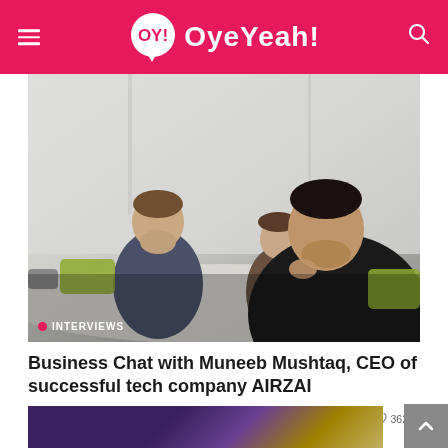OY! OyeYeah!
[Figure (photo): A business meeting scene showing a man in dark clothing in the foreground with other people seated at a table in a bright office environment. An 'INTERVIEWS' badge appears at the bottom left of the photo.]
Business Chat with Muneeb Mushtaq, CEO of successful tech company AIRZAI
OyeYeah News  By NewsDesk  September 1, 2020  362
[Figure (photo): Partial view of another article thumbnail showing a dark purple/blue world map or geographical graphic.]